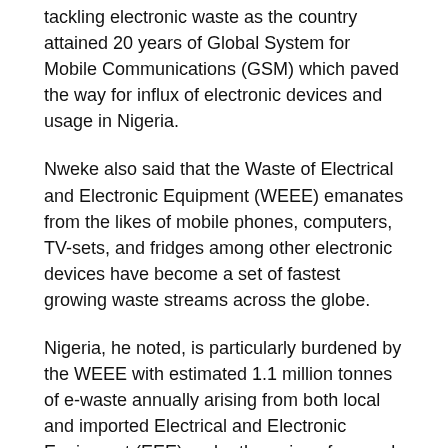tackling electronic waste as the country attained 20 years of Global System for Mobile Communications (GSM) which paved the way for influx of electronic devices and usage in Nigeria.
Nweke also said that the Waste of Electrical and Electronic Equipment (WEEE) emanates from the likes of mobile phones, computers, TV-sets, and fridges among other electronic devices have become a set of fastest growing waste streams across the globe.
Nigeria, he noted, is particularly burdened by the WEEE with estimated 1.1 million tonnes of e-waste annually arising from both local and imported Electrical and Electronic Equipment (EEE) under the guise of second hand or fairly used.
The editor-in-chief of ITREALMS Media, organisers of the E-Waste Dialogue, cited a recent UNEP report which